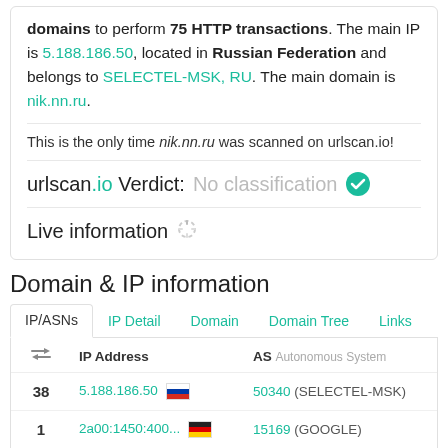domains to perform 75 HTTP transactions. The main IP is 5.188.186.50, located in Russian Federation and belongs to SELECTEL-MSK, RU. The main domain is nik.nn.ru.
This is the only time nik.nn.ru was scanned on urlscan.io!
urlscan.io Verdict: No classification
Live information
Domain & IP information
| (icon) | IP Address | AS Autonomous System |
| --- | --- | --- |
| 38 | 5.188.186.50 | (RU flag) | 50340 (SELECTEL-MSK) |
| 1 | 2a00:1450:400... | (DE flag) | 15169 (GOOGLE) |
| 6 | 2a02:6b8::173 | (RU flag) | 13238 (YANDEX) |